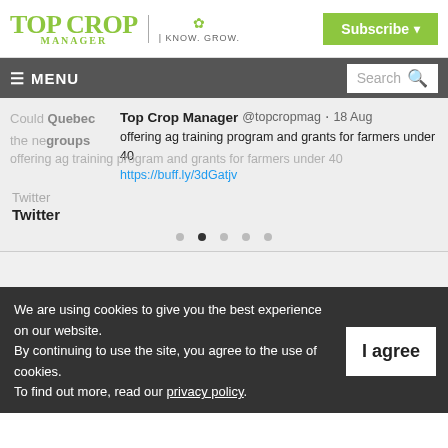Top Crop Manager | KNOW. GROW. | Subscribe
≡ MENU | Search
Could Quebec groups offering ag training programs and grants for farmers under 40 | Top Crop Manager @topcropmag · 18 Aug | https://buff.ly/3dGatjv
Twitter
Twitter
We are using cookies to give you the best experience on our website. By continuing to use the site, you agree to the use of cookies. To find out more, read our privacy policy.
I agree